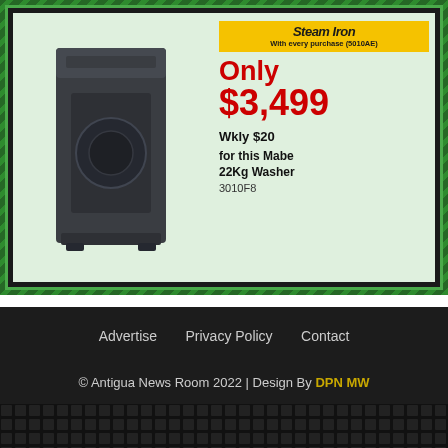[Figure (illustration): Advertisement for Mabe 22Kg Washer model 3010F8 priced at $3,499 (Wkly $20), with a free Steam Iron with every purchase (5010AE). Shows a dark grey top-load washing machine on a light green background with green border and diagonal stripe pattern.]
Advertise   Privacy Policy   Contact
© Antigua News Room 2022 | Design By DPN MW